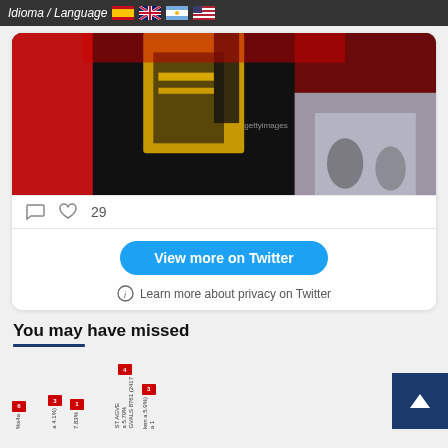Idioma / Language
[Figure (photo): Cyclist in yellow and black Jumbo-Visma jersey celebrating a stage win, arms raised, with red advertising banners and a Getty Images watermark visible. Blurred background shows other cyclists.]
29
View more on Twitter
Learn more about privacy on Twitter
You may have missed
[Figure (screenshot): Partial thumbnails strip showing cycling stage route infographics with red flag markers and small vertical text labels, partially cut off at bottom of page.]